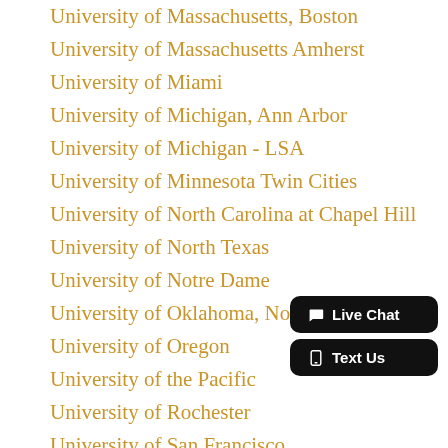University of Massachusetts, Boston
University of Massachusetts Amherst
University of Miami
University of Michigan, Ann Arbor
University of Michigan - LSA
University of Minnesota Twin Cities
University of North Carolina at Chapel Hill
University of North Texas
University of Notre Dame
University of Oklahoma, Norman
University of Oregon
University of the Pacific
University of Rochester
University of San Francisco
University of South Carolina
University of South Florida